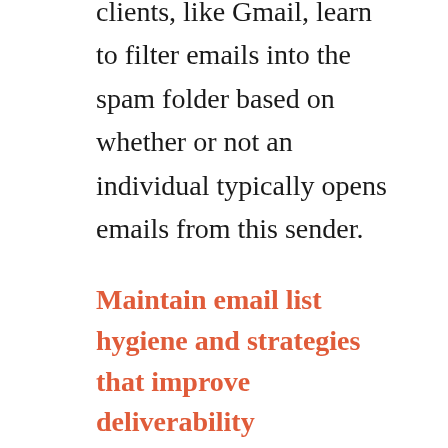clients, like Gmail, learn to filter emails into the spam folder based on whether or not an individual typically opens emails from this sender.
Maintain email list hygiene and strategies that improve deliverability
These inactive subscribers should be removed from your active mailing list and given special attention. If you keep sending them emails they aren't opening, you risk having them unsubscribe altogether. Try using a win-back flow to re-engage these subscribers.